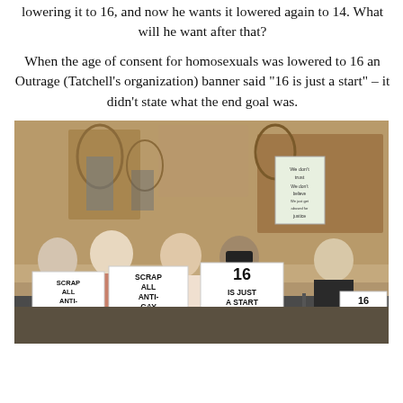lowering it to 16, and now he wants it lowered again to 14. What will he want after that?
When the age of consent for homosexuals was lowered to 16 an Outrage (Tatchell’s organization) banner said “16 is just a start” – it didn’t state what the end goal was.
[Figure (photo): Protest photo outside a historic building (appears to be Houses of Parliament, London). Several protesters hold signs reading 'SCRAP ALL ANTI-GAY LAWS OUTRAGE!' and '16 IS JUST A START OUTRAGE!'. One person holds a sign with text that is partially visible. Small sign in background reads '16 IS JUST A START OUTRAGE!'.]